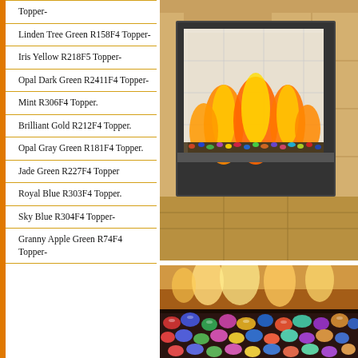Topper-
Linden Tree Green R158F4 Topper-
Iris Yellow R218F5 Topper-
Opal Dark Green R2411F4 Topper-
Mint R306F4 Topper.
Brilliant Gold R212F4 Topper.
Opal Gray Green R181F4 Topper.
Jade Green R227F4 Topper
Royal Blue R303F4 Topper.
Sky Blue R304F4 Topper-
Granny Apple Green R74F4 Topper-
[Figure (photo): Gas fireplace with colorful glass fire gems burning with orange flames, white tile surround]
[Figure (photo): Close-up of colorful glass fire gems with flames, in orange and yellow colors]